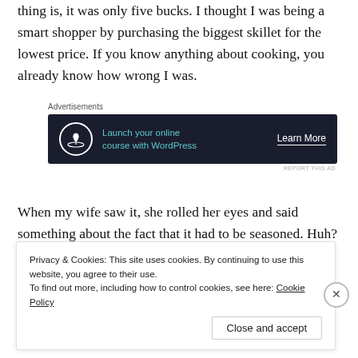thing is, it was only five bucks. I thought I was being a smart shopper by purchasing the biggest skillet for the lowest price. If you know anything about cooking, you already know how wrong I was.
[Figure (other): Advertisement banner with dark background. Shows a bonsai tree icon, text 'Launch your online course with WordPress' in teal, and a 'Learn More' button in white.]
When my wife saw it, she rolled her eyes and said something about the fact that it had to be seasoned. Huh? What spices do you use on cast iron?  Is it savory,
Privacy & Cookies: This site uses cookies. By continuing to use this website, you agree to their use. To find out more, including how to control cookies, see here: Cookie Policy